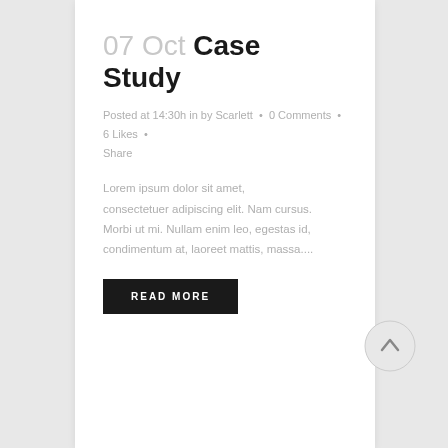07 Oct Case Study
Posted at 14:30h in by Scarlett • 0 Comments • 6 Likes • Share
Lorem ipsum dolor sit amet, consectetuer adipiscing elit. Nam cursus. Morbi ut mi. Nullam enim leo, egestas id, condimentum at, laoreet mattis, massa....
READ MORE